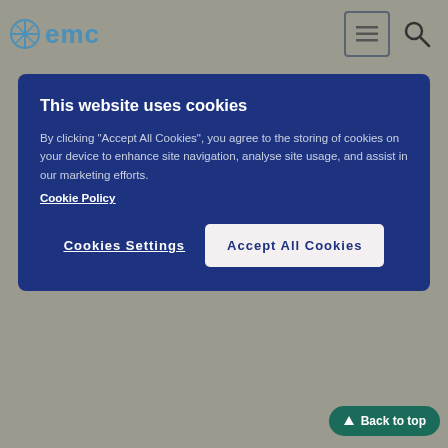[Figure (screenshot): EMC website navigation bar with logo, hamburger menu icon, and search icon on grey background]
[Figure (screenshot): Cookie consent banner with dark blue background reading 'This website uses cookies' with accept and settings buttons]
10% of adults experience more pronounced changes in heart rate (20 beats per minute or greater) and blood pressure (15-20 mmHg or greater). Analysis of these clinical trial data showed that approximately 15-26% of children and adolescents, and 27-32% of adults experiencing such changes in blood pressure and heart rate during atomoxetine treatment had sustained or progressive increases. Long-term sustained changes in blood pressure may potentially contribute to clinical consequences such as myocardial hypertrophy.
As a result of these findings, patients who are being considered for treatment with atomoxetine should have a careful history and physical exam to assess for the presence of cardiac disease, and should receive